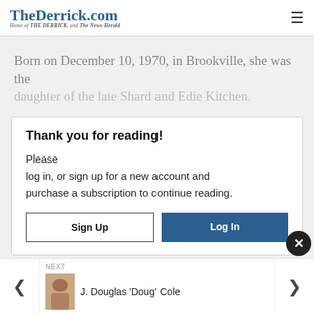TheDerrick.com — Home of THE DERRICK. and The News-Herald
Born on December 10, 1970, in Brookville, she was the daughter of the late Shard and Edie Kitchen.
Thank you for reading!
Please log in, or sign up for a new account and purchase a subscription to continue reading.
Sign Up | Log In
NEXT
J. Douglas 'Doug' Cole